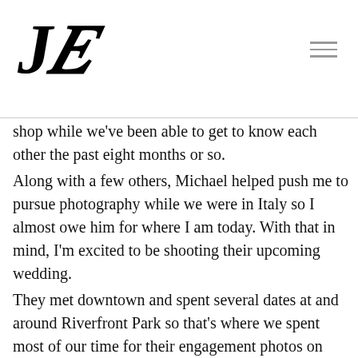JE (logo) with hamburger menu icon
shop while we've been able to get to know each other the past eight months or so.
Along with a few others, Michael helped push me to pursue photography while we were in Italy so I almost owe him for where I am today. With that in mind, I'm excited to be shooting their upcoming wedding.
They met downtown and spent several dates at and around Riverfront Park so that's where we spent most of our time for their engagement photos on Tuesday evening. I have  also shot several other LoDo engagement sessions.
After a torrential downpour almost ruined our plans, the clouds parted just enough to give us a dramatic, overcast sky that was great to shoot under.
I'm definitely looking forward to both shooting and celebrating